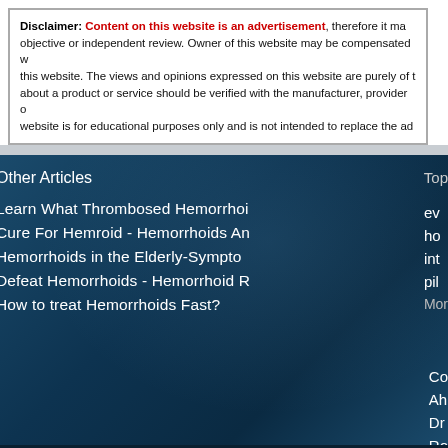Disclaimer: Content on this website is an advertisement, therefore it may not be objective or independent review. Owner of this website may be compensated with this website. The views and opinions expressed on this website are purely of the about a product or service should be verified with the manufacturer, provider or website is for educational purposes only and is not intended to replace the ad
Other Articles
Learn What Thrombosed Hemorrhoi
Cure For Hemroid - Hemorrhoids An
Hemorrhoids in the Elderly-Sympto
Defeat Hemorrhoids - Hemorrhoid R
How to treat Hemorrhoids Fast?
Top
ev
ho
int
pil
Mor
Co
Ah
Dr
Ro
Si
anal sex piles (c) 2022 weddeldirect.com